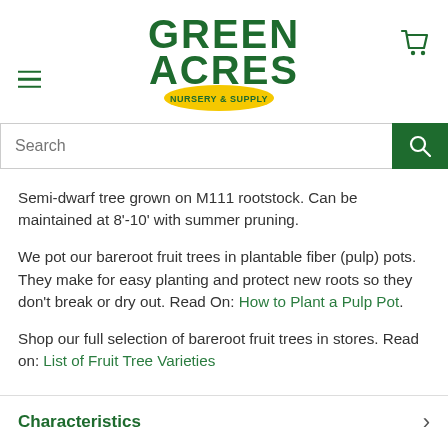[Figure (logo): Green Acres Nursery & Supply logo — green stylized text with yellow ellipse badge]
Semi-dwarf tree grown on M111 rootstock. Can be maintained at 8'-10' with summer pruning.
We pot our bareroot fruit trees in plantable fiber (pulp) pots. They make for easy planting and protect new roots so they don't break or dry out. Read On: How to Plant a Pulp Pot.
Shop our full selection of bareroot fruit trees in stores. Read on: List of Fruit Tree Varieties
Characteristics